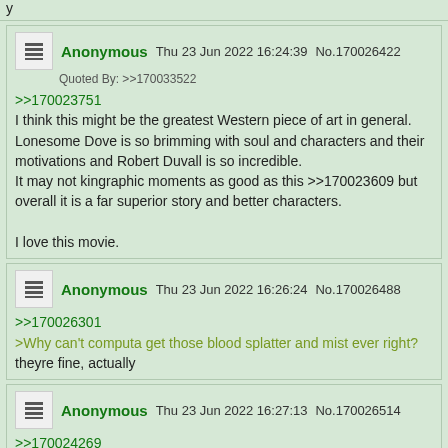y
Anonymous Thu 23 Jun 2022 16:24:39 No.170026422
Quoted By: >>170033522
>>170023751
I think this might be the greatest Western piece of art in general. Lonesome Dove is so brimming with soul and characters and their motivations and Robert Duvall is so incredible.
It may not kingraphic moments as good as this >>170023609 but overall it is a far superior story and better characters.

I love this movie.
Anonymous Thu 23 Jun 2022 16:26:24 No.170026488
>>170026301
>Why can't computa get those blood splatter and mist ever right?
theyre fine, actually
Anonymous Thu 23 Jun 2022 16:27:13 No.170026514
>>170024269
Just watched this yesterday, and it was fun, but it's a goofy movie with some really hammy moments and effects that are fun, but don't allow me to take it seriously. Sharon Stone's whole character and performance is pretty bad compared to everyone else's. The Protagonist shouldn't be so forgettably bad and cringe.